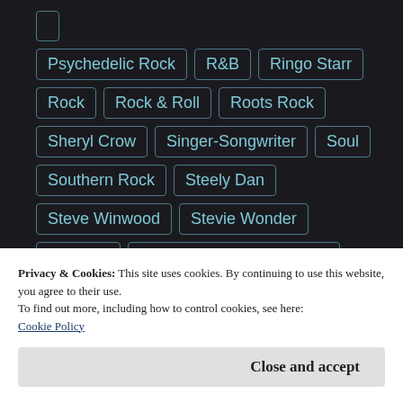Psychedelic Rock
R&B
Ringo Starr
Rock
Rock & Roll
Roots Rock
Sheryl Crow
Singer-Songwriter
Soul
Southern Rock
Steely Dan
Steve Winwood
Stevie Wonder
Tapestry
The Allman Brothers Band
The Beatles
The Byrds
Privacy & Cookies: This site uses cookies. By continuing to use this website, you agree to their use.
To find out more, including how to control cookies, see here:
Cookie Policy
Close and accept